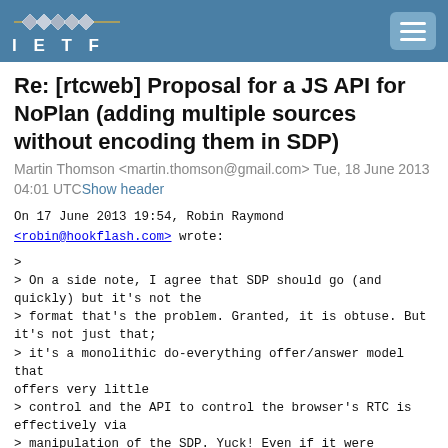IETF
Re: [rtcweb] Proposal for a JS API for NoPlan (adding multiple sources without encoding them in SDP)
Martin Thomson <martin.thomson@gmail.com> Tue, 18 June 2013 04:01 UTCShow header
On 17 June 2013 19:54, Robin Raymond
<robin@hookflash.com> wrote:

>
> On a side note, I agree that SDP should go (and quickly) but it's not the
> format that's the problem. Granted, it is obtuse. But it's not just that;
> it's a monolithic do-everything offer/answer model that offers very little
> control and the API to control the browser's RTC is effectively via
> manipulation of the SDP. Yuck! Even if it were fancier and prettier JSON,
> it would still be an ugly do-everything monolithic object with a sketchy